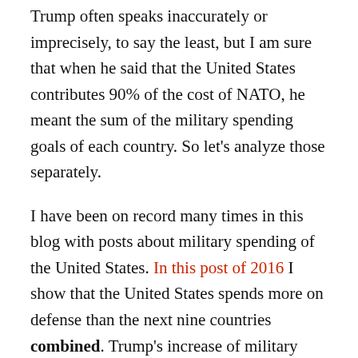Trump often speaks inaccurately or imprecisely, to say the least, but I am sure that when he said that the United States contributes 90% of the cost of NATO, he meant the sum of the military spending goals of each country. So let’s analyze those separately.
I have been on record many times in this blog with posts about military spending of the United States. In this post of 2016 I show that the United States spends more on defense than the next nine countries combined. Trump’s increase of military spending this year of more than $70 billion alone is more than the entire military budget of Russia.
For NATO, the member countries agreed to spend at